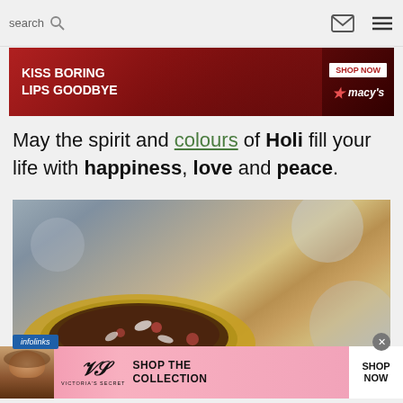search
[Figure (screenshot): Macy's advertisement banner: 'KISS BORING LIPS GOODBYE' with a woman wearing red lipstick and 'SHOP NOW' button with Macy's star logo]
May the spirit and colours of Holi fill your life with happiness, love and peace.
[Figure (photo): Close-up photo of a golden/brass bowl or plate with decorative contents on a blurred grey background]
[Figure (screenshot): Victoria's Secret advertisement banner: 'SHOP THE COLLECTION' with Victoria's Secret logo, model photo, and 'SHOP NOW' button]